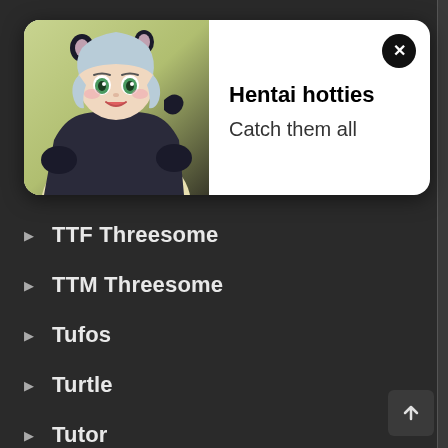[Figure (illustration): Notification card with anime girl character on left side, wearing dark hoodie with cat/bear ears hat, light blue hair, green eyes, on yellowish-green background]
Hentai hotties
Catch them all
TTF Threesome
TTM Threesome
Tufos
Turtle
Tutor
TV Show
Twins
Twintails
Unbirth
Uncensored